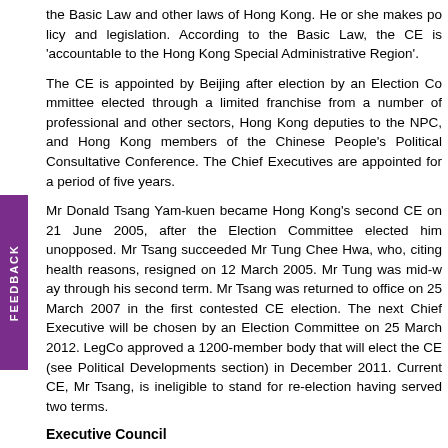the Basic Law and other laws of Hong Kong. He or she makes policy and legislation. According to the Basic Law, the CE is 'accountable to the Hong Kong Special Administrative Region'.
The CE is appointed by Beijing after election by an Election Committee elected through a limited franchise from a number of professional and other sectors, Hong Kong deputies to the NPC, and Hong Kong members of the Chinese People's Political Consultative Conference. The Chief Executives are appointed for a period of five years.
Mr Donald Tsang Yam-kuen became Hong Kong's second CE on 21 June 2005, after the Election Committee elected him unopposed. Mr Tsang succeeded Mr Tung Chee Hwa, who, citing health reasons, resigned on 12 March 2005. Mr Tung was mid-way through his second term. Mr Tsang was returned to office on 25 March 2007 in the first contested CE election. The next Chief Executive will be chosen by an Election Committee on 25 March 2012. LegCo approved a 1200-member body that will elect the CE (see Political Developments section) in December 2011. Current CE, Mr Tsang, is ineligible to stand for re-election having served two terms.
Executive Council
The CE appoints and leads the 30-member Executive Council (ExCo) to assist him in policy matters. The ExCo reviews all major policies and draft legislation before going to the Legislative Council (LegCo). ExCo Members may not serve beyond the term of the CE who appointed them.
The Administration